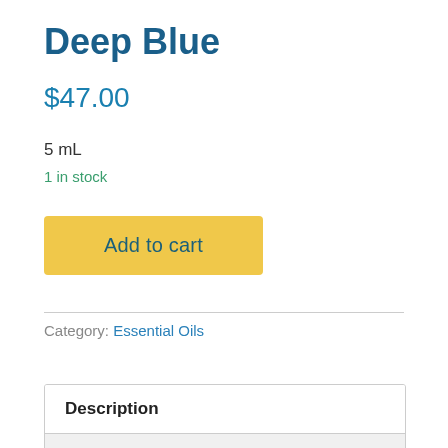Deep Blue
$47.00
5 mL
1 in stock
Add to cart
Category: Essential Oils
Description
Reviews (0)